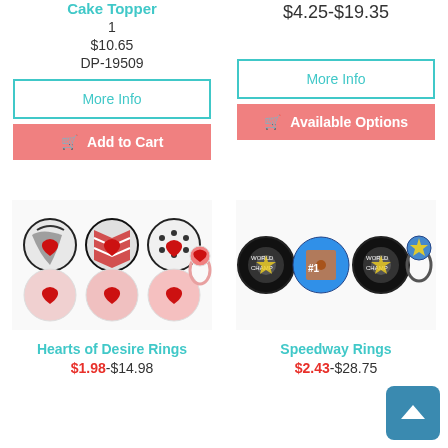Cake Topper
1
$10.65
DP-19509
$4.25-$19.35
More Info
More Info
Add to Cart
Available Options
[Figure (photo): Hearts of Desire Rings product image showing heart-themed cupcake rings]
[Figure (photo): Speedway Rings product image showing racing-themed cupcake rings]
Hearts of Desire Rings
Speedway Rings
$1.98-$14.98
$2.43-$28.75